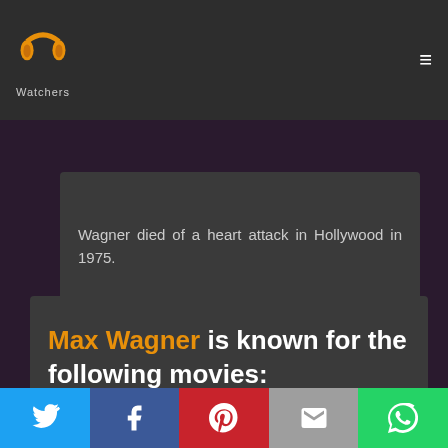PP Watchers logo and hamburger menu
Wagner died of a heart attack in Hollywood in 1975.
Max Wagner is known for the following movies:
Social share bar: Twitter, Facebook, Pinterest, Email, WhatsApp